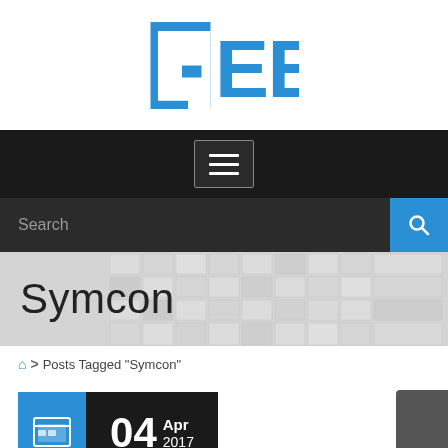[Figure (logo): GEE logo in blue with a 'G' bracket and bold 'EE' lettering]
[Figure (screenshot): Navigation bar with hamburger menu button on black background]
[Figure (screenshot): Search bar with placeholder text 'Search' and blue search button]
Symcon
Posts Tagged "Symcon"
04 Apr 2017
by Jata